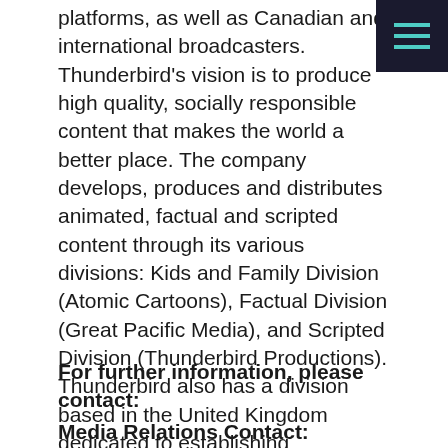platforms, as well as Canadian and international broadcasters. Thunderbird's vision is to produce high quality, socially responsible content that makes the world a better place. The company develops, produces and distributes animated, factual and scripted content through its various divisions: Kids and Family Division (Atomic Cartoons), Factual Division (Great Pacific Media), and Scripted Division (Thunderbird Productions). Thunderbird also has a division based in the United Kingdom dedicated to establishing partnerships with production companies to develop the Company's intellectual property (IP) and growth in key international territories. Thunderbird is on Facebook, Twitter and Instagram at @tbirdent. For more information, visit: www.thunderbird.tv.
For further information, please contact:
Media Relations Contact: